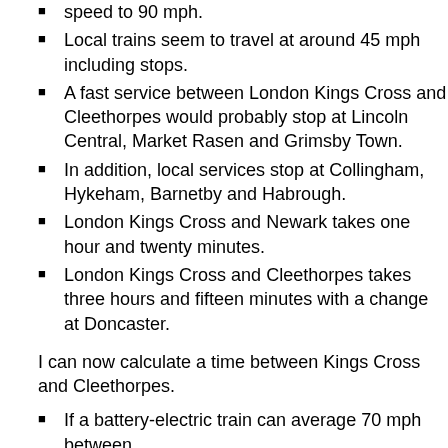speed to 90 mph.
Local trains seem to travel at around 45 mph including stops.
A fast service between London Kings Cross and Cleethorpes would probably stop at Lincoln Central, Market Rasen and Grimsby Town.
In addition, local services stop at Collingham, Hykeham, Barnetby and Habrough.
London Kings Cross and Newark takes one hour and twenty minutes.
London Kings Cross and Cleethorpes takes three hours and fifteen minutes with a change at Doncaster.
I can now calculate a time between Kings Cross and Cleethorpes.
If a battery-electric train can average 70 mph between Kings Cross and Cleethorpes, it would take 75 mi